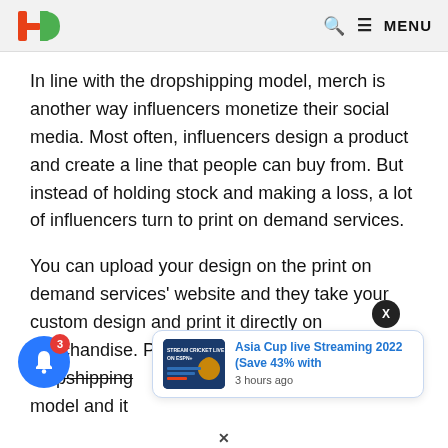HO — MENU
In line with the dropshipping model, merch is another way influencers monetize their social media. Most often, influencers design a product and create a line that people can buy from. But instead of holding stock and making a loss, a lot of influencers turn to print on demand services.
You can upload your design on the print on demand services' website and they take your custom design and print it directly on merchandise. Print on demand also follows the dropshipping model and it
[Figure (screenshot): Notification popup showing 'Asia Cup live Streaming 2022 (Save 43% with' posted 3 hours ago, with a blue bell icon, red badge showing 3, and a close X button]